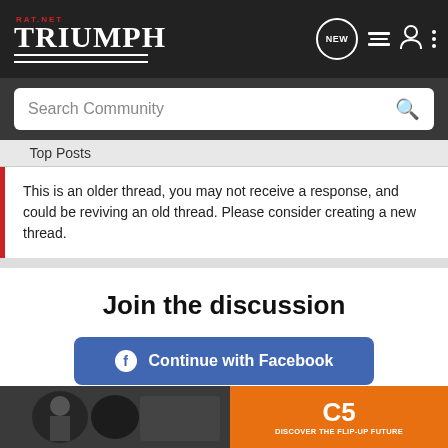RAT.NET TRIUMPH — navigation bar with logo, search, and icons
Top Posts
This is an older thread, you may not receive a response, and could be reviving an old thread. Please consider creating a new thread.
Join the discussion
Continue with Facebook
Continue with Google
or sign up with email
[Figure (photo): Advertisement banner for C5 helmet: motorcycle rider photos on left, orange panel on right with 'C5 DISCOVER THE FLIP-UP FUTURE']